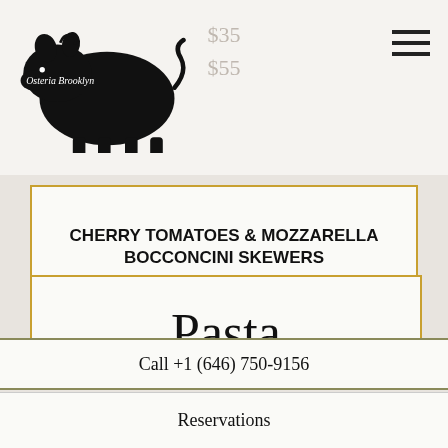[Figure (logo): Osteria Brooklyn logo: black silhouette of a pig with text 'Osteria Brooklyn' inside]
$35
$55
CHERRY TOMATOES & MOZZARELLA BOCCONCINI SKEWERS
5 Skewers $45
10 Skewers $85
Pasta
Call +1 (646) 750-9156
Reservations